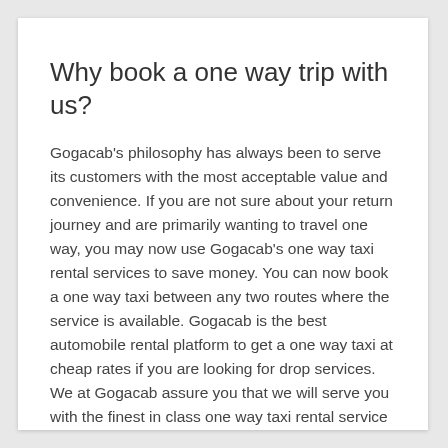Why book a one way trip with us?
Gogacab's philosophy has always been to serve its customers with the most acceptable value and convenience. If you are not sure about your return journey and are primarily wanting to travel one way, you may now use Gogacab's one way taxi rental services to save money. You can now book a one way taxi between any two routes where the service is available. Gogacab is the best automobile rental platform to get a one way taxi at cheap rates if you are looking for drop services. We at Gogacab assure you that we will serve you with the finest in class one way taxi rental service for your reservation.